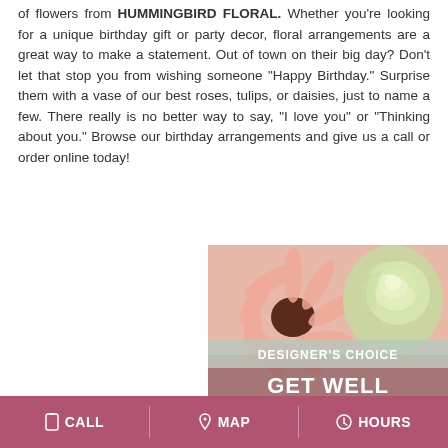of flowers from HUMMINGBIRD FLORAL. Whether you're looking for a unique birthday gift or party decor, floral arrangements are a great way to make a statement. Out of town on their big day? Don't let that stop you from wishing someone "Happy Birthday." Surprise them with a vase of our best roses, tulips, or daisies, just to name a few. There really is no better way to say, "I love you" or "Thinking about you." Browse our birthday arrangements and give us a call or order online today!
[Figure (photo): Close-up photo of pink gerbera daisy and green/cream roses flower arrangement with overlay text 'DESIGNER'S CHOICE GET WELL']
CALL   MAP   HOURS